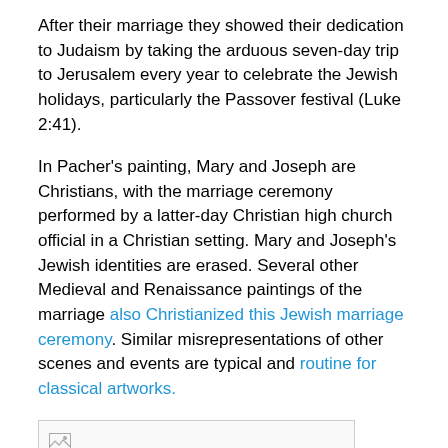After their marriage they showed their dedication to Judaism by taking the arduous seven-day trip to Jerusalem every year to celebrate the Jewish holidays, particularly the Passover festival (Luke 2:41).
In Pacher's painting, Mary and Joseph are Christians, with the marriage ceremony performed by a latter-day Christian high church official in a Christian setting. Mary and Joseph's Jewish identities are erased. Several other Medieval and Renaissance paintings of the marriage also Christianized this Jewish marriage ceremony. Similar misrepresentations of other scenes and events are typical and routine for classical artworks.
[Figure (photo): A broken/unloaded image placeholder shown as a small image icon with a border, approximately 315px wide and 50px tall.]